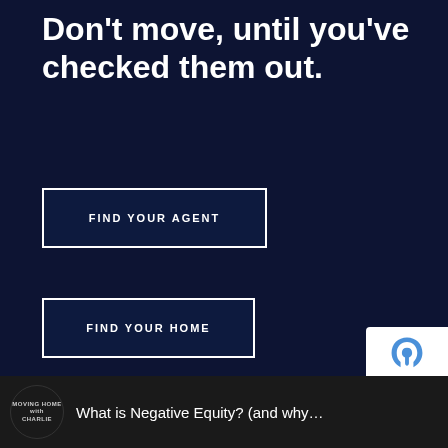Don't move, until you've checked them out.
FIND YOUR AGENT
FIND YOUR HOME
What is Negative Equity? (and why…